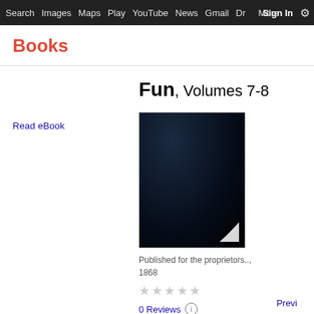Search  Images  Maps  Play  YouTube  News  Gmail  Dr  Sign In  More  ⚙
Books
Read eBook
Fun, Volumes 7-8
[Figure (photo): Dark book cover image for Fun, Volumes 7-8]
Published for the proprietors.., 1868
★★★★★ (grey stars, no rating)
0 Reviews ⓘ
Previ